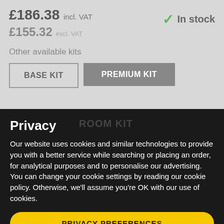£186.38 incl. VAT
In stock
£155.32 excl. VAT
Other available kits
BASE KIT
PREMIUM KIT
ROOM KIT
Privacy
Our website uses cookies and similar technologies to provide you with a better service while searching or placing an order, for analytical purposes and to personalise our advertising. You can change your cookie settings by reading our cookie policy. Otherwise, we'll assume you're OK with our use of cookies.
PRIVACY PREFERENCES
I AGREE